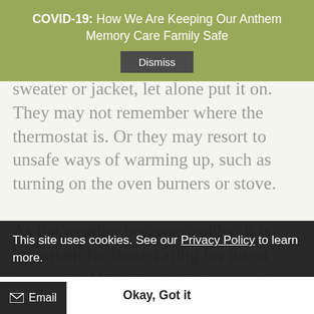those with normal cognitive ability do. While they may feel cold, they may lack the organization skills to find a sweater or jacket, let alone put it on. They may not remember where the thermostat is. Or they may resort to unsafe ways of warming up, such as turning on the oven burners or stove.

As the weather becomes colder, it is important for those caring for loved ones with Alzheimer's disease or other forms of dementia to be especially aware of the potential harm weather swings can bring.

Here are the ways all our efforts should be on the…ways to keep your loved ones safe and comfortable as wintery weather ushers in.

Personal comfort and safety here are like common sense…
However, an individual struggling with dementia may not
COVID-19: How We Are Keeping Our Anthem Memory Care Family Safe
Dismiss
This site uses cookies. See our Privacy Policy to learn more.
Okay, Got it
Email